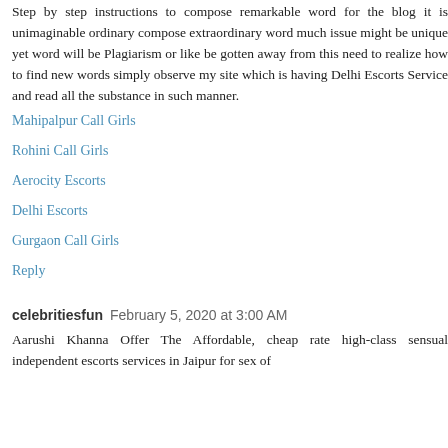Step by step instructions to compose remarkable word for the blog it is unimaginable ordinary compose extraordinary word much issue might be unique yet word will be Plagiarism or like be gotten away from this need to realize how to find new words simply observe my site which is having Delhi Escorts Service and read all the substance in such manner.
Mahipalpur Call Girls
Rohini Call Girls
Aerocity Escorts
Delhi Escorts
Gurgaon Call Girls
Reply
celebritiesfun  February 5, 2020 at 3:00 AM
Aarushi Khanna Offer The Affordable, cheap rate high-class sensual independent escorts services in Jaipur for sex of